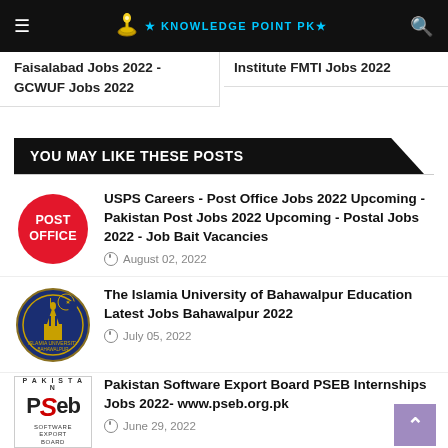Knowledge Point PK - navigation bar with hamburger menu, logo, and search icon
Faisalabad Jobs 2022 - GCWUF Jobs 2022
Institute FMTI Jobs 2022
YOU MAY LIKE THESE POSTS
[Figure (logo): Post Office red circle logo with POST OFFICE text in white]
USPS Careers - Post Office Jobs 2022 Upcoming - Pakistan Post Jobs 2022 Upcoming - Postal Jobs 2022 - Job Bait Vacancies
August 02, 2022
[Figure (logo): The Islamia University of Bahawalpur crest/seal logo in blue and gold]
The Islamia University of Bahawalpur Education Latest Jobs Bahawalpur 2022
July 05, 2022
[Figure (logo): PSEB Pakistan Software Export Board logo]
Pakistan Software Export Board PSEB Internships Jobs 2022- www.pseb.org.pk
June 29, 2022